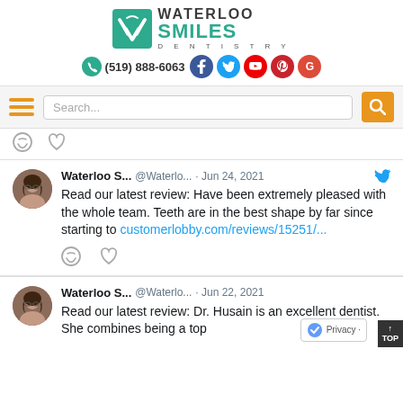[Figure (logo): Waterloo Smiles Dentistry logo with teal W icon and social media icons including phone number (519) 888-6063]
[Figure (screenshot): Navigation bar with hamburger menu icon, search box, and orange search button]
Comment and heart icons (tweet actions)
Waterloo S... @Waterlo... · Jun 24, 2021
Read our latest review: Have been extremely pleased with the whole team. Teeth are in the best shape by far since starting to customerlobby.com/reviews/15251/...
Comment and heart icons (tweet actions)
Waterloo S... @Waterlo... · Jun 22, 2021
Read our latest review: Dr. Husain is an excellent dentist. She combines being a top